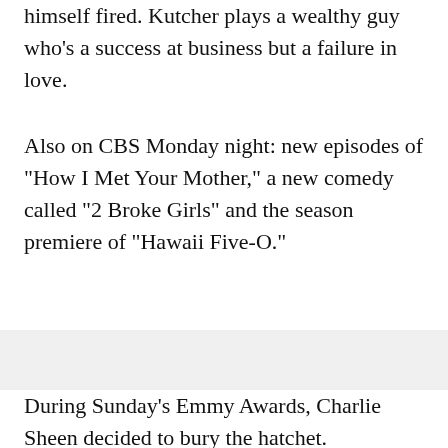himself fired. Kutcher plays a wealthy guy who's a success at business but a failure in love.
Also on CBS Monday night: new episodes of "How I Met Your Mother," a new comedy called "2 Broke Girls" and the season premiere of "Hawaii Five-O."
During Sunday's Emmy Awards, Charlie Sheen decided to bury the hatchet.
The fired star of "Two and a Half Men" appeared at the awards ceremony to present the lead actor in a comedy series award, or as Sheen called it, "My old category."
But before he did, he took time to mend some